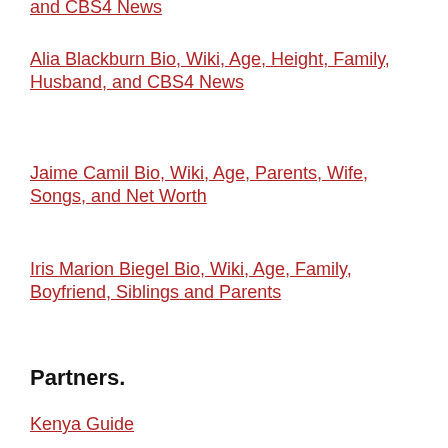and CBS4 News
Alia Blackburn Bio, Wiki, Age, Height, Family, Husband, and CBS4 News
Jaime Camil Bio, Wiki, Age, Parents, Wife, Songs, and Net Worth
Iris Marion Biegel Bio, Wiki, Age, Family, Boyfriend, Siblings and Parents
Partners.
Kenya Guide
Health Guide
Famous People
Famous People
Life in Kenya
Life in Kenya